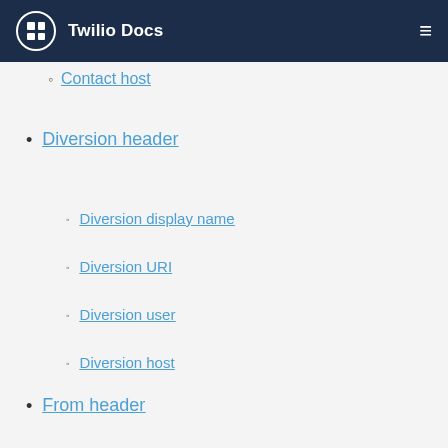Twilio Docs
Contact host
Diversion header
Diversion display name
Diversion URI
Diversion user
Diversion host
From header
From display name